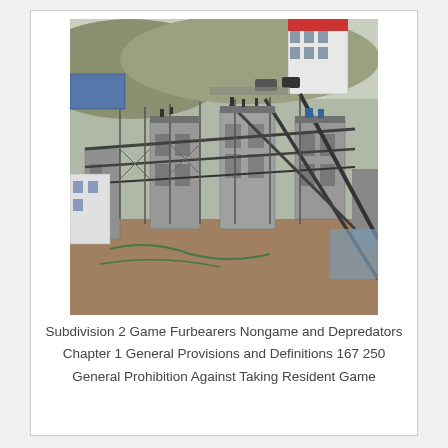[Figure (photo): Aerial view of a construction site showing concrete structures with scaffolding, steel frames, and partially built buildings. Multiple structures under construction visible, with completed white buildings visible in the background along with hills.]
Subdivision 2 Game Furbearers Nongame and Depredators Chapter 1 General Provisions and Definitions 167 250 General Prohibition Against Taking Resident Game